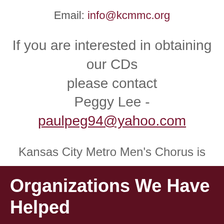Email: info@kcmmc.org
If you are interested in obtaining our CDs please contact Peggy Lee - paulpeg94@yahoo.com
Kansas City Metro Men's Chorus is a 501c3 Not for Profit Corporation Tax ID Number 42-1587924
Organizations We Have Helped